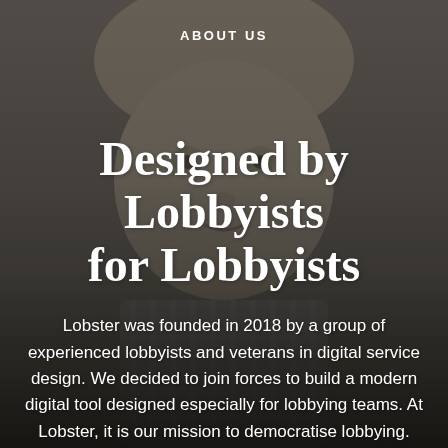[Figure (photo): Close-up overhead photo of a young blonde child/toddler looking up at the camera, wearing a striped shirt, with a dark blurred background. The image serves as the full-page background for the about us section.]
ABOUT US
Designed by Lobbyists for Lobbyists
Lobster was founded in 2018 by a group of experienced lobbyists and veterans in digital service design. We decided to join forces to build a modern digital tool designed especially for lobbying teams. At Lobster, it is our mission to democratise lobbying. We believe that the quality of public decision making improves, when all the different parties can have their opinions heard. The world needs more lobbying.